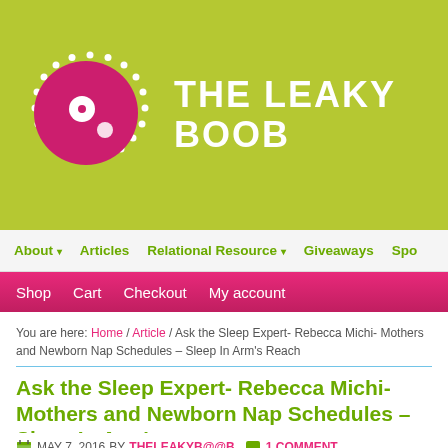[Figure (logo): The Leaky Boob website logo: olive/yellow-green header with dotted circle logo containing a pink circle with white dot, beside white text THE LEAKY BOOB]
About ▾  Articles  Relational Resource ▾  Giveaways  Spo...
Shop  Cart  Checkout  My account
You are here: Home / Article / Ask the Sleep Expert- Rebecca Michi- Mothers and Newborn Nap Schedules – Sleep In Arm's Reach
Ask the Sleep Expert- Rebecca Michi- Mothers and Newborn Nap Schedules – Sleep In Arm's
MAY 7, 2016 BY THELEAKYB@@B  1 COMMENT
The Leakies with Rebecca Michi
This post made possible by the generous support of Arm's Rea...